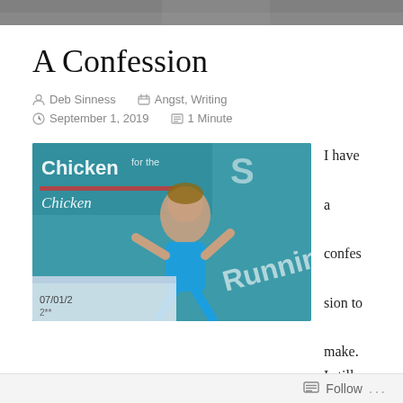[Figure (photo): Top strip showing partial photo of a person running/exercising]
A Confession
Deb Sinness   Angst, Writing   September 1, 2019   1 Minute
[Figure (photo): Photo of a Chicken Soup for the Soul Running book with a runner on the cover, dated 07/01/2, partially visible text 'Running']
I have a confession to make. I still haven'
Follow ...